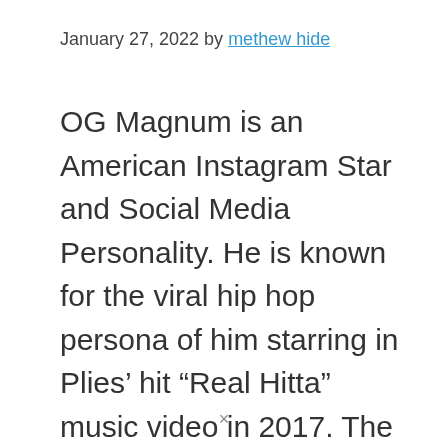January 27, 2022 by methew hide
OG Magnum is an American Instagram Star and Social Media Personality. He is known for the viral hip hop persona of him starring in Plies’ hit “Real Hitta” music video in 2017. The video was viewed more than 8 million times in three weeks. He has over 250,000 followers on his og.magnum Instagram account. He enter Biography section and find